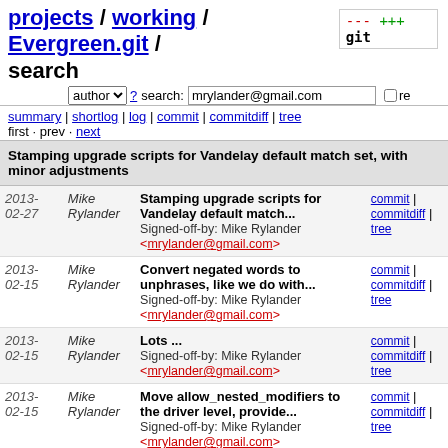projects / working / Evergreen.git / search
author ? search: mrylander@gmail.com re
summary | shortlog | log | commit | commitdiff | tree
first · prev · next
Stamping upgrade scripts for Vandelay default match set, with minor adjustments
| Date | Author | Message | Links |
| --- | --- | --- | --- |
| 2013-02-27 | Mike Rylander | Stamping upgrade scripts for Vandelay default match...
Signed-off-by: Mike Rylander <mrylander@gmail.com> | commit | commitdiff | tree |
| 2013-02-15 | Mike Rylander | Convert negated words to unphrases, like we do with...
Signed-off-by: Mike Rylander <mrylander@gmail.com> | commit | commitdiff | tree |
| 2013-02-15 | Mike Rylander | Lots ...
Signed-off-by: Mike Rylander <mrylander@gmail.com> | commit | commitdiff | tree |
| 2013-02-15 | Mike Rylander | Move allow_nested_modifiers to the driver level, provide...
Signed-off-by: Mike Rylander <mrylander@gmail.com> | commit | commitdiff | tree |
| 2013-02-15 | Mike Rylander | Pretty-fy canonicalization
Signed-off-by: Mike Rylander | commit | commitdiff | tree |